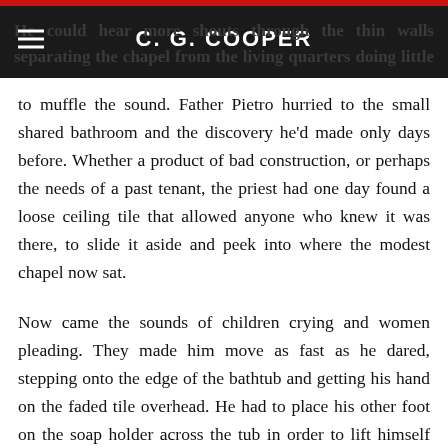C. G. COOPER
to muffle the sound. Father Pietro hurried to the small shared bathroom and the discovery he'd made only days before. Whether a product of bad construction, or perhaps the needs of a past tenant, the priest had one day found a loose ceiling tile that allowed anyone who knew it was there, to slide it aside and peek into where the modest chapel now sat.
Now came the sounds of children crying and women pleading. They made him move as fast as he dared, stepping onto the edge of the bathtub and getting his hand on the faded tile overhead. He had to place his other foot on the soap holder across the tub in order to lift himself up. Once he had, he pushed the ceiling tile aside and pulled his head up into the space.
He almost fell when he saw them, momentarily To